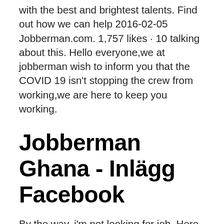with the best and brightest talents. Find out how we can help 2016-02-05 Jobberman.com. 1,757 likes · 10 talking about this. Hello everyone,we at jobberman wish to inform you that the COVID 19 isn't stopping the crew from working,we are here to keep you working.
Jobberman Ghana - Inlägg Facebook
By the way, i'm not looking for job. Here about 30 popular Careers Nigeria, Job Vacancies Nigeria, Nigerian Jobs, current jobs nigeria sites such as jobberman.com (Latest Job Vacancies In Nigeria - Jobs In Nigeria). The best 3 similar sites: hdjobs.com, simplyhired.com, thenationonli...